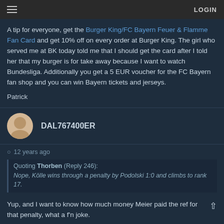≡  LOGIN
A tip for everyone, get the Burger King/FC Bayern Feuer & Flamme Fan Card and get 10% off on every order at Burger King. The girl who served me at BK today told me that I should get the card after I told her that my burger is for take away because I want to watch Bundesliga. Additionally you get a 5 EUR voucher for the FC Bayern fan shop and you can win Bayern tickets and jerseys.
Patrick
DAL767400ER
12 years ago
Quoting Thorben (Reply 246):
Nope, Kölle wins through a penalty by Podolski 1:0 and climbs to rank 17.
Yup, and I want to know how much money Meier paid the ref for that penalty, what a f'n joke.
Thorben